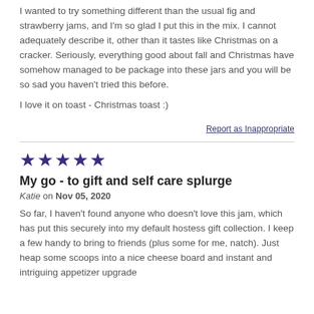I wanted to try something different than the usual fig and strawberry jams, and I'm so glad I put this in the mix. I cannot adequately describe it, other than it tastes like Christmas on a cracker. Seriously, everything good about fall and Christmas have somehow managed to be package into these jars and you will be so sad you haven't tried this before.
I love it on toast - Christmas toast :)
Report as Inappropriate
★★★★★
My go - to gift and self care splurge
Katie on Nov 05, 2020
So far, I haven't found anyone who doesn't love this jam, which has put this securely into my default hostess gift collection. I keep a few handy to bring to friends (plus some for me, natch). Just heap some scoops into a nice cheese board and instant and intriguing appetizer upgrade